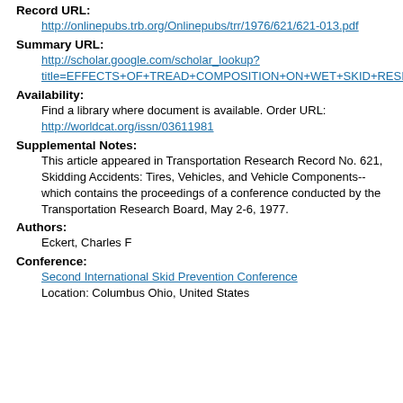Record URL:
http://onlinepubs.trb.org/Onlinepubs/trr/1976/621/621-013.pdf
Summary URL:
http://scholar.google.com/scholar_lookup?title=EFFECTS+OF+TREAD+COMPOSITION+ON+WET+SKID+RESISTANCE+OF+PASSENGER+TIRES&author=C.+Eckert&publication_year=1977
Availability:
Find a library where document is available. Order URL: http://worldcat.org/issn/03611981
Supplemental Notes:
This article appeared in Transportation Research Record No. 621, Skidding Accidents: Tires, Vehicles, and Vehicle Components--which contains the proceedings of a conference conducted by the Transportation Research Board, May 2-6, 1977.
Authors:
Eckert, Charles F
Conference:
Second International Skid Prevention Conference
Location: Columbus Ohio, United States